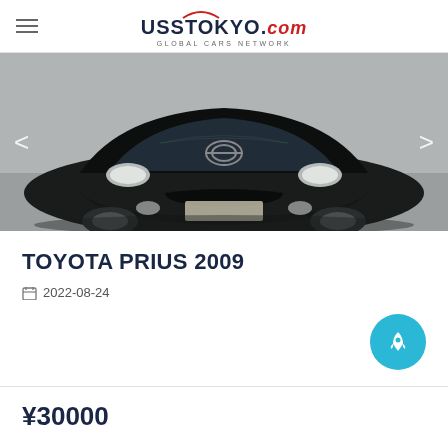UssTokyo.com GLOBAL CARS NETWORK
[Figure (photo): Front view of a black Toyota Prius 2009 in a dealership setting, dark background]
TOYOTA PRIUS 2009
2022-08-24
¥30000